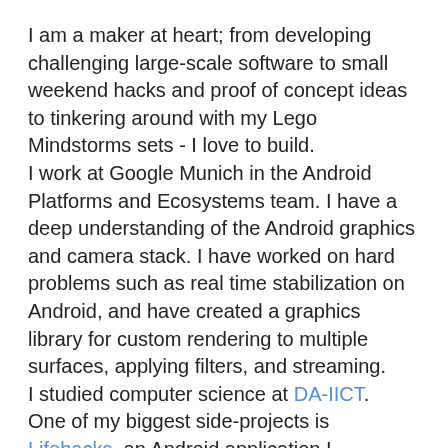I am a maker at heart; from developing challenging large-scale software to small weekend hacks and proof of concept ideas to tinkering around with my Lego Mindstorms sets - I love to build.
I work at Google Munich in the Android Platforms and Ecosystems team. I have a deep understanding of the Android graphics and camera stack. I have worked on hard problems such as real time stabilization on Android, and have created a graphics library for custom rendering to multiple surfaces, applying filters, and streaming.
I studied computer science at DA-IICT.
One of my biggest side-projects is Lifehacks, an Android application I developed from scratch which now has over 750K installs. I designed the logo, collated the content, structured the database and designed the